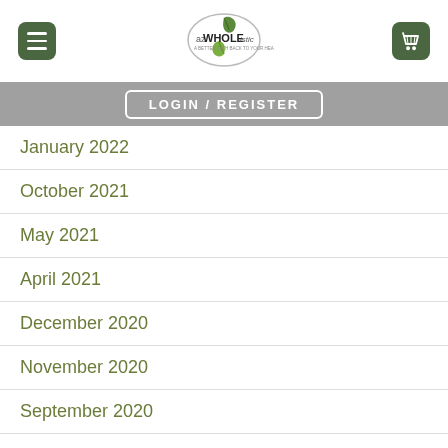[Figure (logo): azWHOLEistic logo with two green leaves and circular border]
LOGIN / REGISTER
January 2022
October 2021
May 2021
April 2021
December 2020
November 2020
September 2020
August 2020
July 2020